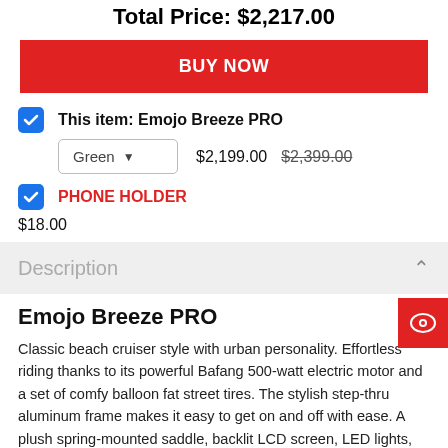Total Price: $2,217.00
BUY NOW
This item: Emojo Breeze PRO
Green  $2,199.00  $2,399.00
PHONE HOLDER
$18.00
Description
Emojo Breeze PRO
Classic beach cruiser style with urban personality. Effortless riding thanks to its powerful Bafang 500-watt electric motor and a set of comfy balloon fat street tires. The stylish step-thru aluminum frame makes it easy to get on and off with ease. A plush spring-mounted saddle, backlit LCD screen, LED lights, rear cargo rack, and color-matched metal fenders add convenience and tons of joy in a standard package.